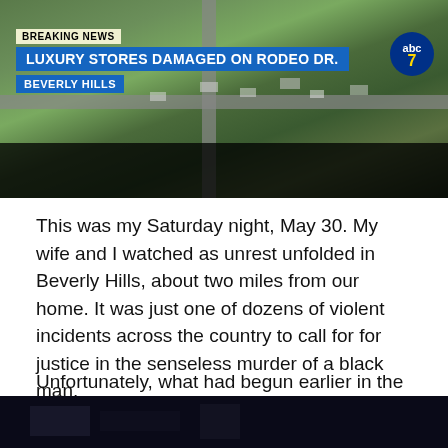[Figure (screenshot): ABC7 breaking news broadcast screenshot showing aerial view of Beverly Hills with chyron: BREAKING NEWS / LUXURY STORES DAMAGED ON RODEO DR. / BEVERLY HILLS]
This was my Saturday night, May 30. My wife and I watched as unrest unfolded in Beverly Hills, about two miles from our home. It was just one of dozens of violent incidents across the country to call for for justice in the senseless murder of a black man.
Unfortunately, what had begun earlier in the day as a series of peaceful protests in the Los Angeles area devolved into random looting and violence across the area – with nonstop news coverage showing a city on fire.
[Figure (screenshot): Bottom portion of another news broadcast screenshot, dark/nighttime scene]